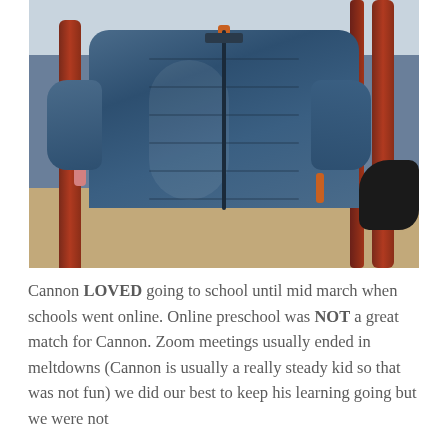[Figure (photo): A child wearing a navy blue puffer jacket (Patagonia style) with an orange zipper pull, standing on a playground structure with rust-colored metal bars. A sandy/tan ground is visible in the background.]
Cannon LOVED going to school until mid march when schools went online. Online preschool was NOT a great match for Cannon. Zoom meetings usually ended in meltdowns (Cannon is usually a really steady kid so that was not fun) we did our best to keep his learning going but we were not